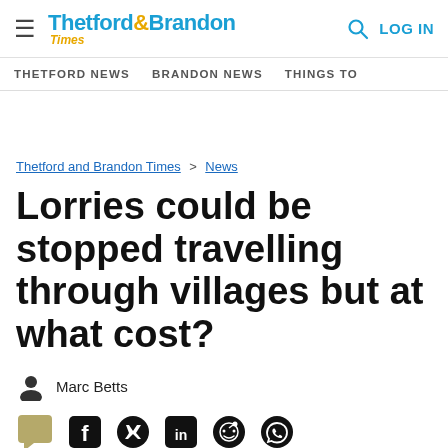Thetford & Brandon Times — LOG IN
THETFORD NEWS  BRANDON NEWS  THINGS TO
Thetford and Brandon Times > News
Lorries could be stopped travelling through villages but at what cost?
Marc Betts
[Figure (infographic): Social share icons: comment bubble, Facebook, Twitter, LinkedIn, Reddit, WhatsApp]